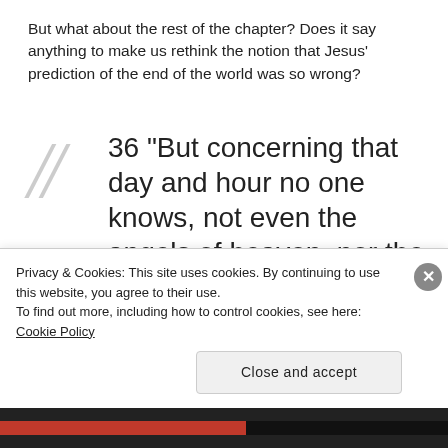But what about the rest of the chapter? Does it say anything to make us rethink the notion that Jesus' prediction of the end of the world was so wrong?
36 “But concerning that day and hour no one knows, not even the angels of heaven, nor the Son, but the Father only. 37 For as were the days of Noah
Privacy & Cookies: This site uses cookies. By continuing to use this website, you agree to their use.
To find out more, including how to control cookies, see here: Cookie Policy
Close and accept